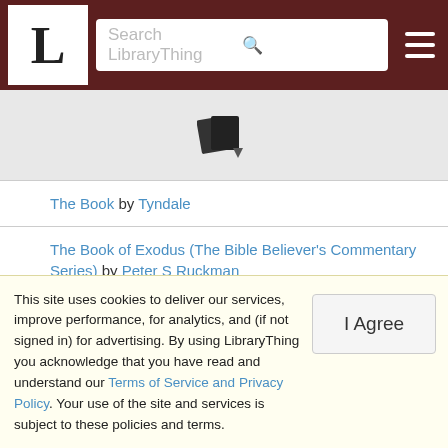LibraryThing — Search LibraryThing
[Figure (other): LibraryThing toolbar with book/sort icon]
The Book by Tyndale
The Book of Exodus (The Bible Believer's Commentary Series) by Peter S Ruckman
The Book of Exodus Part 1 (Pamphlet Bible series) by Roland E Murphy
Book of Kings 1; a commentary by Leo Lazarus Honor
The Books of Haggai, Zechariah and Malachi (Cambridge...
This site uses cookies to deliver our services, improve performance, for analytics, and (if not signed in) for advertising. By using LibraryThing you acknowledge that you have read and understand our Terms of Service and Privacy Policy. Your use of the site and services is subject to these policies and terms.